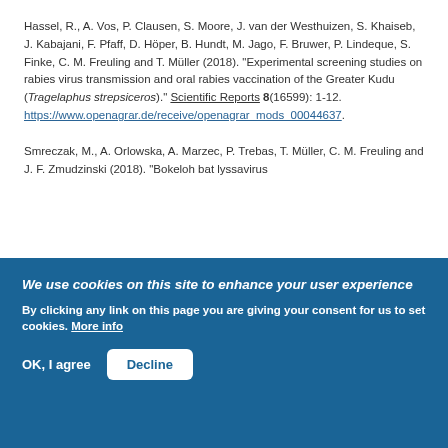Hassel, R., A. Vos, P. Clausen, S. Moore, J. van der Westhuizen, S. Khaiseb, J. Kabajani, F. Pfaff, D. Höper, B. Hundt, M. Jago, F. Bruwer, P. Lindeque, S. Finke, C. M. Freuling and T. Müller (2018). "Experimental screening studies on rabies virus transmission and oral rabies vaccination of the Greater Kudu (Tragelaphus strepsiceros)." Scientific Reports 8(16599): 1-12. https://www.openagrar.de/receive/openagrar_mods_00044637.
Smreczak, M., A. Orlowska, A. Marzec, P. Trebas, T. Müller, C. M. Freuling and J. F. Zmudzinski (2018). "Bokeloh bat lyssavirus
We use cookies on this site to enhance your user experience
By clicking any link on this page you are giving your consent for us to set cookies. More info
OK, I agree   Decline